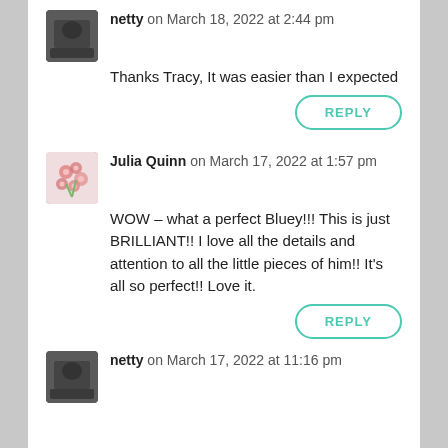netty on March 18, 2022 at 2:44 pm
Thanks Tracy, It was easier than I expected
REPLY
Julia Quinn on March 17, 2022 at 1:57 pm
WOW – what a perfect Bluey!!! This is just BRILLIANT!! I love all the details and attention to all the little pieces of him!! It's all so perfect!! Love it.
REPLY
netty on March 17, 2022 at 11:16 pm